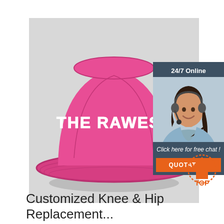[Figure (photo): Pink bucket hat with 'THE RAWEST' text in white lettering on a light grey background]
[Figure (infographic): 24/7 Online chat widget showing a woman with headset smiling, with 'Click here for free chat!' text and an orange QUOTATION button]
[Figure (logo): TOP icon with orange house/arrow shape and dotted border, text 'TOP' in orange below]
Customized Knee & Hip Replacement...